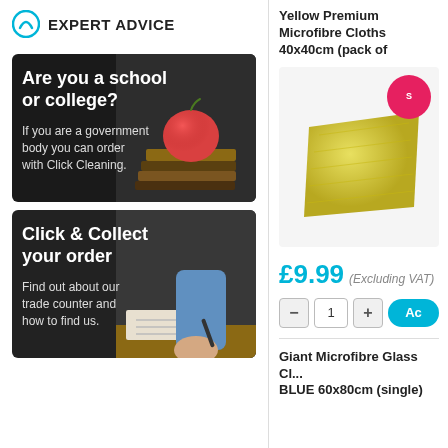EXPERT ADVICE
[Figure (illustration): Promotional banner: dark background with apple on books image. Text: 'Are you a school or college? If you are a government body you can order with Click Cleaning.']
[Figure (illustration): Promotional banner: dark background with person writing image. Text: 'Click & Collect your order. Find out about our trade counter and how to find us.']
Yellow Premium Microfibre Cloths 40x40cm (pack of
[Figure (photo): Yellow microfibre cleaning cloth product image with red sale badge]
£9.99 (Excluding VAT)
1
Ac
Giant Microfibre Glass Cl... BLUE 60x80cm (single)